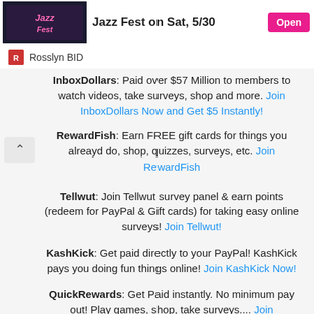[Figure (screenshot): Jazz Fest banner image thumbnail]
Jazz Fest on Sat, 5/30
Open
Rosslyn BID
InboxDollars: Paid over $57 Million to members to watch videos, take surveys, shop and more. Join InboxDollars Now and Get $5 Instantly!
RewardFish: Earn FREE gift cards for things you alreayd do, shop, quizzes, surveys, etc. Join RewardFish
Tellwut: Join Tellwut survey panel & earn points (redeem for PayPal & Gift cards) for taking easy online surveys! Join Tellwut!
KashKick: Get paid directly to your PayPal! KashKick pays you doing fun things online! Join KashKick Now!
QuickRewards: Get Paid instantly. No minimum pay out! Play games, shop, take surveys.... Join QuickRewards